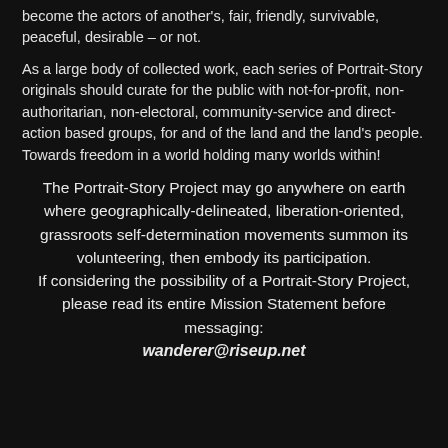become the actors of another's, fair, friendly, survivable, peaceful, desirable – or not.
As a large body of collected work, each series of Portrait-Story originals should curate for the public with not-for-profit, non-authoritarian, non-electoral, community-service and direct-action based groups, for and of the land and the land's people. Towards freedom in a world holding many worlds within!
The Portrait-Story Project may go anywhere on earth where geographically-delineated, liberation-oriented, grassroots self-determination movements summon its volunteering, then embody its participation. If considering the possibility of a Portrait-Story Project, please read its entire Mission Statement before messaging: wanderer@riseup.net